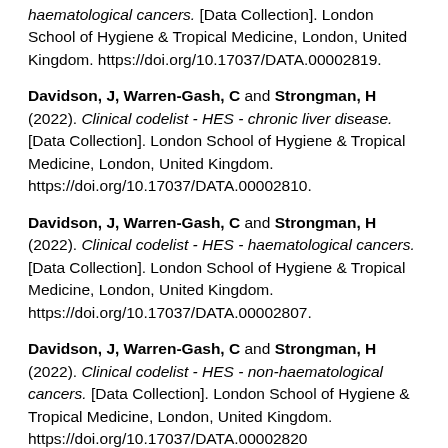haematological cancers. [Data Collection]. London School of Hygiene & Tropical Medicine, London, United Kingdom. https://doi.org/10.17037/DATA.00002819.
Davidson, J, Warren-Gash, C and Strongman, H (2022). Clinical codelist - HES - chronic liver disease. [Data Collection]. London School of Hygiene & Tropical Medicine, London, United Kingdom. https://doi.org/10.17037/DATA.00002810.
Davidson, J, Warren-Gash, C and Strongman, H (2022). Clinical codelist - HES - haematological cancers. [Data Collection]. London School of Hygiene & Tropical Medicine, London, United Kingdom. https://doi.org/10.17037/DATA.00002807.
Davidson, J, Warren-Gash, C and Strongman, H (2022). Clinical codelist - HES - non-haematological cancers. [Data Collection]. London School of Hygiene & Tropical Medicine, London, United Kingdom. https://doi.org/10.17037/DATA.00002820